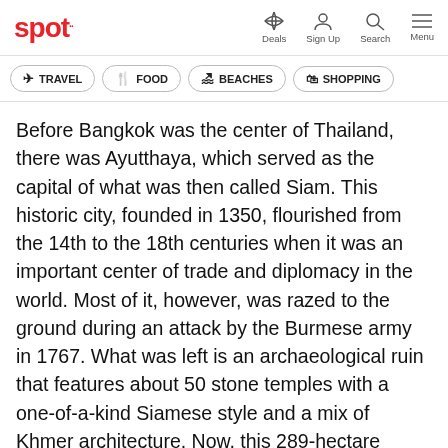spot.. | Deals | Sign Up | Search | Menu
TRAVEL | FOOD | BEACHES | SHOPPING
Before Bangkok was the center of Thailand, there was Ayutthaya, which served as the capital of what was then called Siam. This historic city, founded in 1350, flourished from the 14th to the 18th centuries when it was an important center of trade and diplomacy in the world. Most of it, however, was razed to the ground during an attack by the Burmese army in 1767. What was left is an archaeological ruin that features about 50 stone temples with a one-of-a-kind Siamese style and a mix of Khmer architecture. Now, this 289-hectare destination discovered in 1991 is a designated UNESCO World Heritage Site.